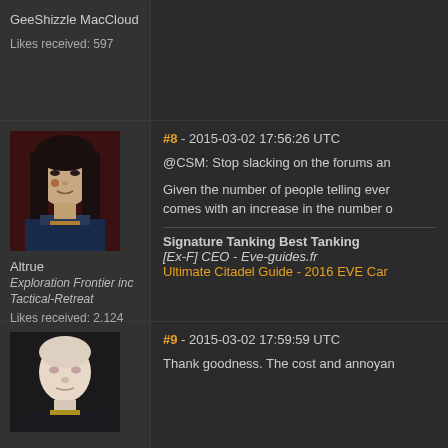GeeShizzle MacCloud
Likes received: 597
[Figure (photo): Avatar portrait of Altrue, a female character with dark hair and face markings in sci-fi attire]
Altrue
Exploration Frontier inc
Tactical-Retreat
Likes received: 2,124
#8 - 2015-03-02 17:56:26 UTC
@CSM: Stop slacking on the forums an
Given the number of people telling ever
comes with an increase in the number o
Signature Tanking Best Tanking
[Ex-F] CEO - Eve-guides.fr
Ultimate Citadel Guide - 2016 EVE Car
[Figure (photo): Avatar portrait of a bald pale character in sci-fi attire]
#9 - 2015-03-02 17:59:59 UTC
Thank goodness. The cost and annoyan